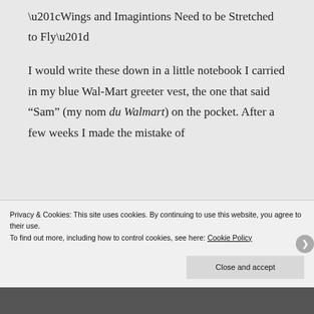“Wings and Imagintions Need to be Stretched to Fly”
I would write these down in a little notebook I carried in my blue Wal-Mart greeter vest, the one that said “Sam” (my nom du Walmart) on the pocket. After a few weeks I made the mistake of
Privacy & Cookies: This site uses cookies. By continuing to use this website, you agree to their use.
To find out more, including how to control cookies, see here: Cookie Policy